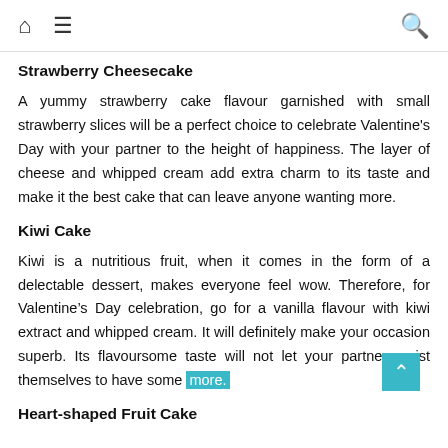🏠 ☰ 🔍
Strawberry Cheesecake
A yummy strawberry cake flavour garnished with small strawberry slices will be a perfect choice to celebrate Valentine's Day with your partner to the height of happiness. The layer of cheese and whipped cream add extra charm to its taste and make it the best cake that can leave anyone wanting more.
Kiwi Cake
Kiwi is a nutritious fruit, when it comes in the form of a delectable dessert, makes everyone feel wow. Therefore, for Valentine's Day celebration, go for a vanilla flavour with kiwi extract and whipped cream. It will definitely make your occasion superb. Its flavoursome taste will not let your partner resist themselves to have some more.
Heart-shaped Fruit Cake